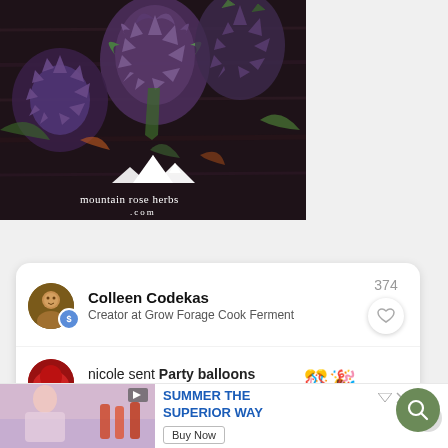[Figure (photo): Advertisement photo for Mountain Rose Herbs showing purple thistle/artichoke flowers on dark wood background with Mountain Rose Herbs .com logo overlaid in white]
Colleen Codekas
Creator at Grow Forage Cook Ferment
374
nicole sent Party balloons
for Fermented Honey Garlic
[Figure (screenshot): Ad banner: Summer The Superior Way with Buy Now button, showing beverages image on left]
SUMMER THE SUPERIOR WAY
Buy Now